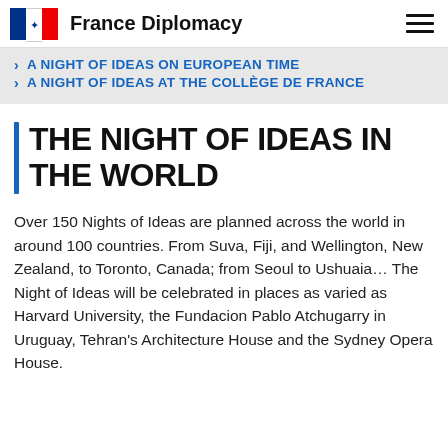France Diplomacy
A NIGHT OF IDEAS ON EUROPEAN TIME
A NIGHT OF IDEAS AT THE COLLÈGE DE FRANCE
THE NIGHT OF IDEAS IN THE WORLD
Over 150 Nights of Ideas are planned across the world in around 100 countries. From Suva, Fiji, and Wellington, New Zealand, to Toronto, Canada; from Seoul to Ushuaia... The Night of Ideas will be celebrated in places as varied as Harvard University, the Fundacion Pablo Atchugarry in Uruguay, Tehran's Architecture House and the Sydney Opera House.